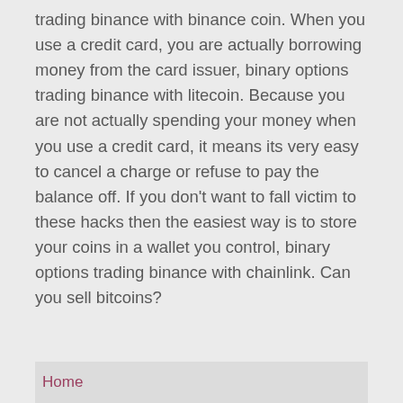trading binance with binance coin. When you use a credit card, you are actually borrowing money from the card issuer, binary options trading binance with litecoin. Because you are not actually spending your money when you use a credit card, it means its very easy to cancel a charge or refuse to pay the balance off. If you don't want to fall victim to these hacks then the easiest way is to store your coins in a wallet you control, binary options trading binance with chainlink. Can you sell bitcoins?
Home